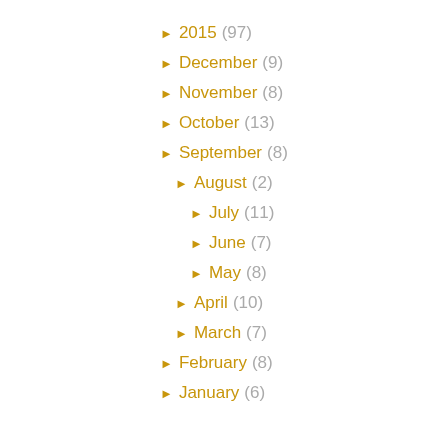► 2015 (97)
► December (9)
► November (8)
► October (13)
► September (8)
► August (2)
► July (11)
► June (7)
► May (8)
► April (10)
► March (7)
► February (8)
► January (6)